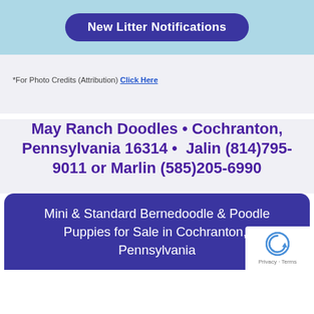[Figure (other): Button with rounded corners on light blue background labeled 'New Litter Notifications']
*For Photo Credits (Attribution) Click Here
May Ranch Doodles • Cochranton, Pennsylvania 16314 •  Jalin (814)795-9011 or Marlin (585)205-6990
Mini & Standard Bernedoodle & Poodle Puppies for Sale in Cochranton, Pennsylvania